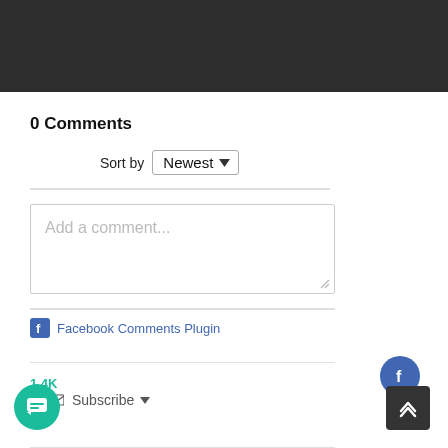[Figure (screenshot): Dark header bar at top of page]
0 Comments
Sort by Newest
[Figure (screenshot): Comment input text box with placeholder 'Add a comment...']
Facebook Comments Plugin
1.4K Subscribe
[Figure (screenshot): Chat bubble button (teal), Facebook circle button (blue), back-to-top button (dark)]